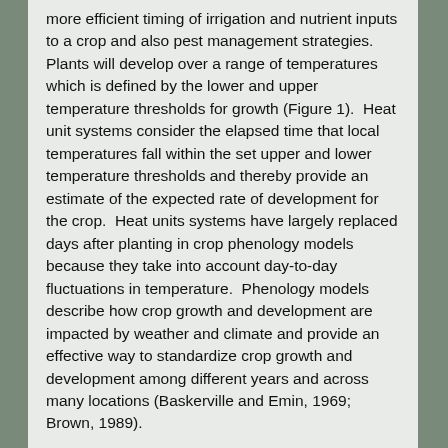more efficient timing of irrigation and nutrient inputs to a crop and also pest management strategies.  Plants will develop over a range of temperatures which is defined by the lower and upper temperature thresholds for growth (Figure 1).  Heat unit systems consider the elapsed time that local temperatures fall within the set upper and lower temperature thresholds and thereby provide an estimate of the expected rate of development for the crop.  Heat units systems have largely replaced days after planting in crop phenology models because they take into account day-to-day fluctuations in temperature.  Phenology models describe how crop growth and development are impacted by weather and climate and provide an effective way to standardize crop growth and development among different years and across many locations (Baskerville and Emin, 1969; Brown, 1989).
The use of HU-based phenology models are particularly important and applicable in irrigated crop production